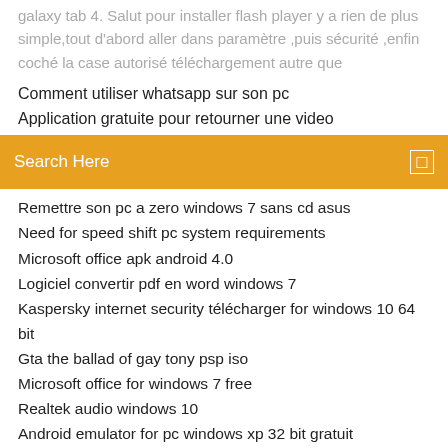galaxy tab 4. Salut pour installer flash player y a rien de plus simple,tout d'abord aller dans paramètre ,puis sécurité ,enfin coché la case autorisé téléchargement autre que
Comment utiliser whatsapp sur son pc
Application gratuite pour retourner une video
Search Here
Remettre son pc a zero windows 7 sans cd asus
Need for speed shift pc system requirements
Microsoft office apk android 4.0
Logiciel convertir pdf en word windows 7
Kaspersky internet security télécharger for windows 10 64 bit
Gta the ballad of gay tony psp iso
Microsoft office for windows 7 free
Realtek audio windows 10
Android emulator for pc windows xp 32 bit gratuit